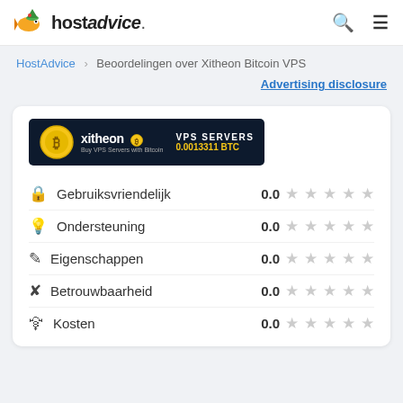hostadvice.
HostAdvice > Beoordelingen over Xitheon Bitcoin VPS
Advertising disclosure
[Figure (logo): Xitheon VPS Servers banner with bitcoin icon, text: xitheon VPS SERVERS 0.0013311 BTC]
Gebruiksvriendelijk 0.0 (0 stars)
Ondersteuning 0.0 (0 stars)
Eigenschappen 0.0 (0 stars)
Betrouwbaarheid 0.0 (0 stars)
Kosten 0.0 (0 stars)